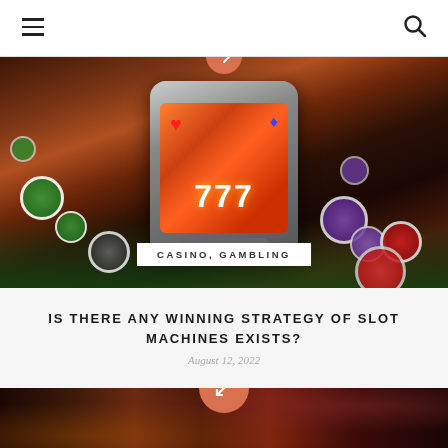[Figure (photo): Casino slot machine showing triple 7s on a smartphone screen, surrounded by colorful casino chips (green, purple, red, black and white) on a green felt surface with bokeh lights in background. Category label 'CASINO, GAMBLING' overlaid at bottom center.]
IS THERE ANY WINNING STRATEGY OF SLOT MACHINES EXISTS?
August 12, 2022
[Figure (photo): Partially visible casino-themed image with dice and blurred colorful lights in background, with an orange circular icon overlay at the top.]